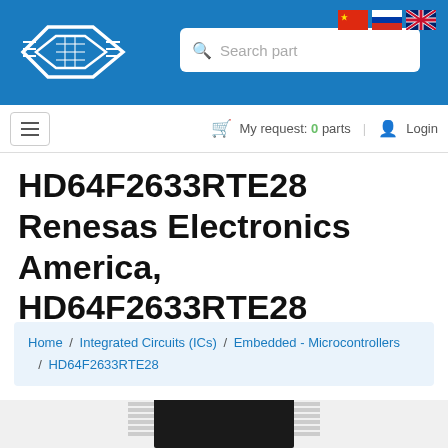[Figure (screenshot): Blue header bar with electronic component distributor logo (white diamond/chip shape), search box, and language flags (Chinese, Russian, UK)]
My request: 0 parts | Login
HD64F2633RTE28 Renesas Electronics America, HD64F2633RTE28 Datasheet - Page 173
Home / Integrated Circuits (ICs) / Embedded - Microcontrollers / HD64F2633RTE28
[Figure (photo): Close-up photo of an IC chip (microcontroller) in a flat package with pins on two sides, black body, partially visible at bottom of page]